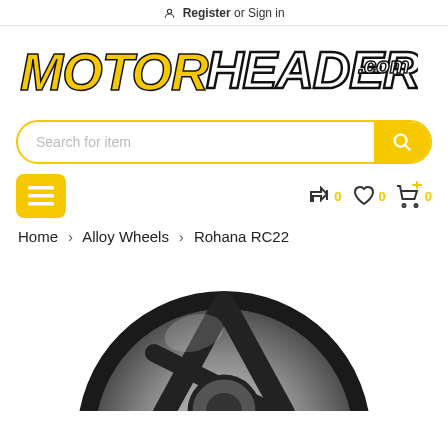Register or Sign in
[Figure (logo): MotorHeader.com logo with tagline AUTOMOTIVE PERFORMANCE ON THE EDGE]
[Figure (other): Search bar with yellow search button]
[Figure (other): Navigation row with hamburger menu button and icons for compare (0), wishlist (0), cart (0)]
Home > Alloy Wheels > Rohana RC22
[Figure (photo): Rohana RC22 alloy wheel partial image, dark silver/gunmetal finish]